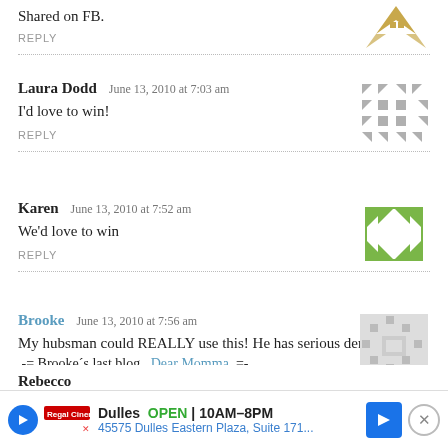Shared on FB.
REPLY
Laura Dodd   June 13, 2010 at 7:03 am
I'd love to win!
REPLY
Karen   June 13, 2010 at 7:52 am
We'd love to win
REPLY
Brooke   June 13, 2010 at 7:56 am
My hubsman could REALLY use this! He has serious dental issues!
.-= Brooke's last blog ..Dear Momma, =-.
REPLY
Rebecca
Dulles  OPEN | 10AM-8PM  45575 Dulles Eastern Plaza, Suite 171...